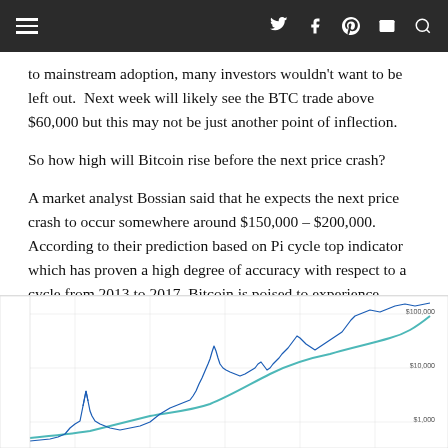Navigation bar with hamburger menu and social icons
to mainstream adoption, many investors wouldn't want to be left out. Next week will likely see the BTC trade above $60,000 but this may not be just another point of inflection.
So how high will Bitcoin rise before the next price crash?
A market analyst Bossian said that he expects the next price crash to occur somewhere around $150,000 – $200,000. According to their prediction based on Pi cycle top indicator which has proven a high degree of accuracy with respect to a cycle from 2013 to 2017, Bitcoin is poised to experience massive upward price movement.
[Figure (continuous-plot): Bitcoin price chart showing Pi cycle top indicator. Two lines (a blue volatile price line and a smoother teal/green moving average line) plotted on a logarithmic scale. Y-axis labels visible: $100,000 (top), $10,000 (middle), $1,000 (lower). The price line shows sharp peaks around 2013-2014 and 2017-2018, with a dramatic rise toward the right edge approaching $100,000.]